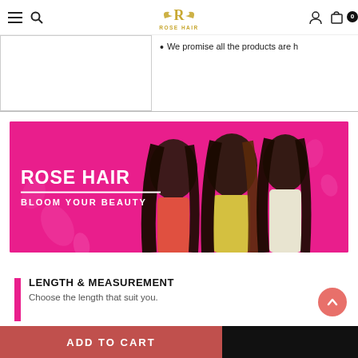Rose Hair - navigation header with menu, search, logo, account, and cart icons
• We promise all the products are h...
[Figure (photo): Rose Hair brand banner on hot pink background showing three women with long straight hair. Text reads 'ROSE HAIR' and 'BLOOM YOUR BEAUTY']
LENGTH & MEASUREMENT
Choose the length that suit you.
ADD TO CART